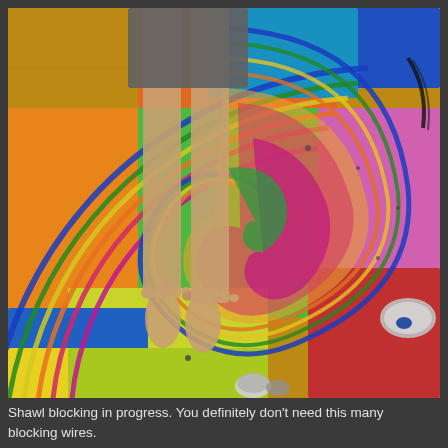[Figure (photo): A photo of shawl blocking in progress on colorful interlocking foam puzzle mats on a wooden floor. A spiral/swirl pattern of rainbow-colored yarn or blocking wires is laid out across the mats. A person's bare feet are visible in the upper left area. Various blocking pins and wires are visible holding the shawl in a large circular spiral shape. A plate with small items is visible on the right side.]
Shawl blocking in progress. You definitely don't need this many blocking wires.